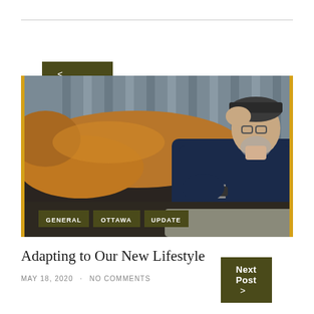< Previous Post
[Figure (photo): A man in a dark shirt reclining on a couch with a large brown dog lying on top of him. Vertical blinds visible in the background. Tags overlaid at bottom: GENERAL, OTTAWA, UPDATE.]
Adapting to Our New Lifestyle
MAY 18, 2020 · NO COMMENTS
Next Post >